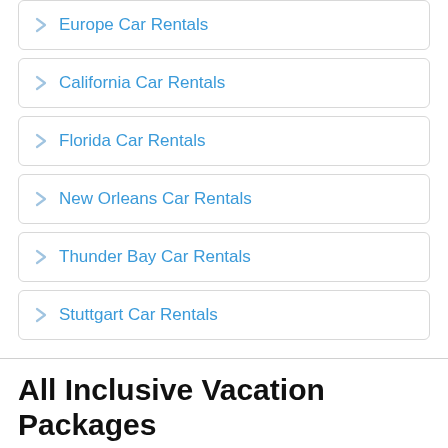Europe Car Rentals
California Car Rentals
Florida Car Rentals
New Orleans Car Rentals
Thunder Bay Car Rentals
Stuttgart Car Rentals
All Inclusive Vacation Packages
Cheap All Inclusive Vacation Packages. Find the Best Air & Hotel Deals on All Inclusive Packaged Vacations in the Caribbean, Europe, Mexico and more.
All Inclusive Vacation will show you what a restful holiday should be like when you have full access to amenities, restaurants, snacks and beverages from your quality resort.Book Your Cheap All